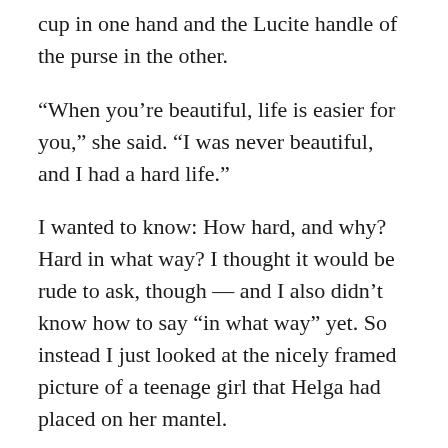cup in one hand and the Lucite handle of the purse in the other.
“When you’re beautiful, life is easier for you,” she said. “I was never beautiful, and I had a hard life.”
I wanted to know: How hard, and why? Hard in what way? I thought it would be rude to ask, though — and I also didn’t know how to say “in what way” yet. So instead I just looked at the nicely framed picture of a teenage girl that Helga had placed on her mantel.
“Meine Tochter,” she said, following my eyes. (“My daughter.”) “She wasn’t beautiful, either.”
Germans are nothing if not blunt, and so this was true,